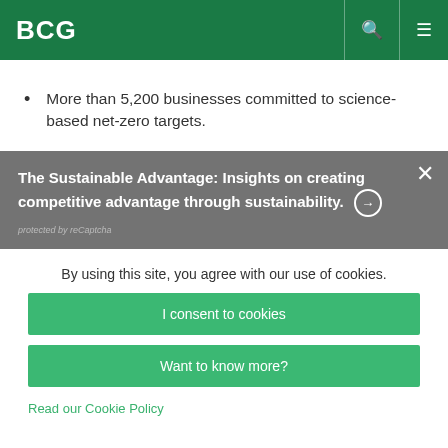BCG
More than 5,200 businesses committed to science-based net-zero targets.
The Sustainable Advantage: Insights on creating competitive advantage through sustainability. protected by reCaptcha
By using this site, you agree with our use of cookies.
I consent to cookies
Want to know more?
Read our Cookie Policy